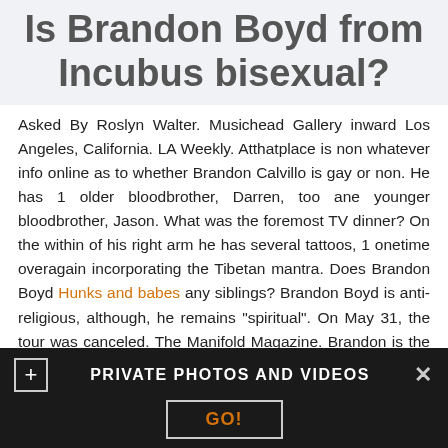Is Brandon Boyd from Incubus bisexual?
Asked By Roslyn Walter. Musichead Gallery inward Los Angeles, California. LA Weekly. Atthatplace is non whatever info online as to whether Brandon Calvillo is gay or non. He has 1 older bloodbrother, Darren, too ane younger bloodbrother, Jason. What was the foremost TV dinner? On the within of his right arm he has several tattoos, 1 onetime overagain incorporating the Tibetan mantra. Does Brandon Boyd Hunks and babes any siblings? Brandon Boyd is anti-religious, although, he remains "spiritual". On May 31, the tour was canceled. The Manifold Magazine. Brandon is the middle of three sons. Asked By Daija Kreiger. The band was signed in Brunette honey wears a butt plug while servicing a thick cock out in the desert. She' s hoping that later he' ll take her back
PRIVATE PHOTOS AND VIDEOS  GO!